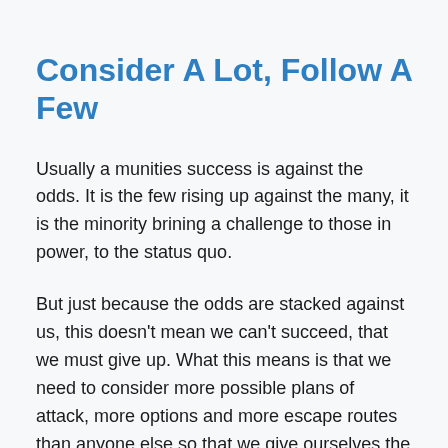Consider A Lot, Follow A Few
Usually a munities success is against the odds. It is the few rising up against the many, it is the minority brining a challenge to those in power, to the status quo.
But just because the odds are stacked against us, this doesn't mean we can't succeed, that we must give up. What this means is that we need to consider more possible plans of attack, more options and more escape routes than anyone else so that we give ourselves the best chance of